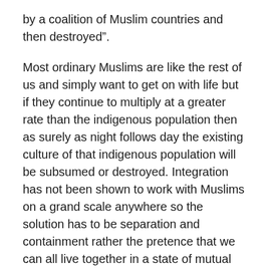by a coalition of Muslim countries and then destroyed”.
Most ordinary Muslims are like the rest of us and simply want to get on with life but if they continue to multiply at a greater rate than the indigenous population then as surely as night follows day the existing culture of that indigenous population will be subsumed or destroyed. Integration has not been shown to work with Muslims on a grand scale anywhere so the solution has to be separation and containment rather the pretence that we can all live together in a state of mutual jollification and “rainbow coalition” style holding hands and dancing in a circle as if we were in an encounter group.
Khan talks about 9/11 but does not mention the 28 redacted pages from the 9/11 Commission Report which would deal with who was really responsible and who paid